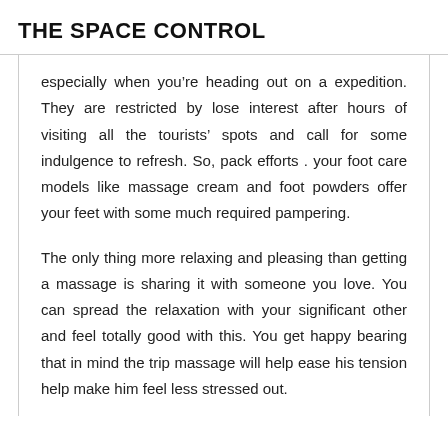THE SPACE CONTROL
especially when you’re heading out on a expedition. They are restricted by lose interest after hours of visiting all the tourists’ spots and call for some indulgence to refresh. So, pack efforts . your foot care models like massage cream and foot powders offer your feet with some much required pampering.
The only thing more relaxing and pleasing than getting a massage is sharing it with someone you love. You can spread the relaxation with your significant other and feel totally good with this. You get happy bearing that in mind the trip massage will help ease his tension help make him feel less stressed out.